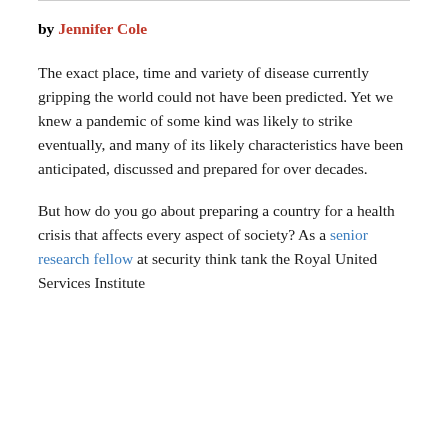by Jennifer Cole
The exact place, time and variety of disease currently gripping the world could not have been predicted. Yet we knew a pandemic of some kind was likely to strike eventually, and many of its likely characteristics have been anticipated, discussed and prepared for over decades.
But how do you go about preparing a country for a health crisis that affects every aspect of society? As a senior research fellow at security think tank the Royal United Services Institute